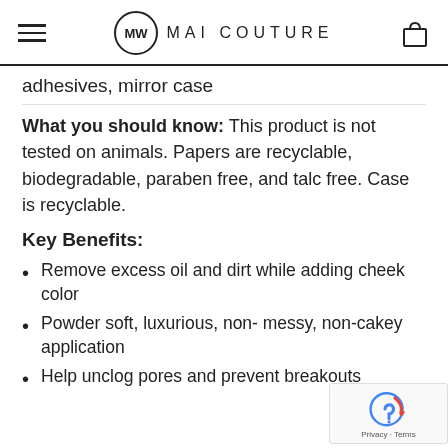MAI COUTURE
adhesives, mirror case
What you should know: This product is not tested on animals. Papers are recyclable, biodegradable, paraben free, and talc free. Case is recyclable.
Key Benefits:
Remove excess oil and dirt while adding cheek color
Powder soft, luxurious, non- messy, non-cakey application
Help unclog pores and prevent breakouts